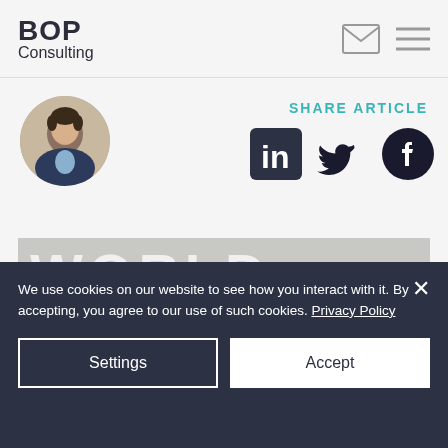BOP Consulting
[Figure (photo): Circular avatar photo of a man in a dark blazer]
SHARE ARTICLE
[Figure (logo): LinkedIn, Twitter, and Facebook social media share icons]
[Figure (photo): Photo of a theater marquee with large letters spelling WORLD and text THE WORLD IS]
We use cookies on our website to see how you interact with it. By accepting, you agree to our use of such cookies. Privacy Policy
Settings
Accept